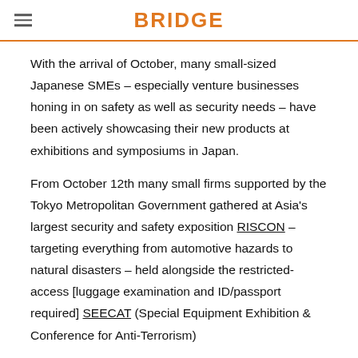BRIDGE
With the arrival of October, many small-sized Japanese SMEs – especially venture businesses honing in on safety as well as security needs – have been actively showcasing their new products at exhibitions and symposiums in Japan.
From October 12th many small firms supported by the Tokyo Metropolitan Government gathered at Asia's largest security and safety exposition RISCON – targeting everything from automotive hazards to natural disasters – held alongside the restricted-access [luggage examination and ID/passport required] SEECAT (Special Equipment Exhibition & Conference for Anti-Terrorism)